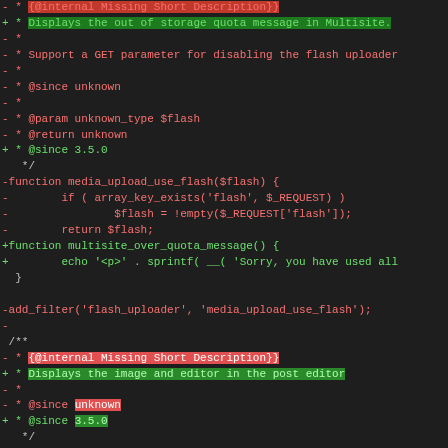[Figure (screenshot): A code diff view showing changes to PHP functions in a dark-themed monospace editor. Red lines are deletions, green lines are additions. Includes changes to media_upload_use_flash and media_upload_flash_bypass functions, with highlighted text showing replaced descriptions and version tags.]